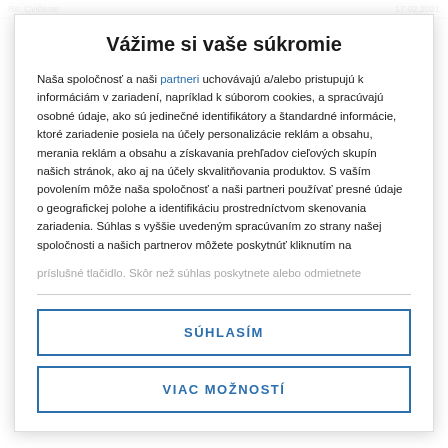Re: Cvičenie | 17.02.2021
Vážime si vaše súkromie
Naša spoločnosť a naši partneri uchovávajú a/alebo pristupujú k informáciám v zariadení, napríklad k súborom cookies, a spracúvajú osobné údaje, ako sú jedinečné identifikátory a štandardné informácie, ktoré zariadenie posiela na účely personalizácie reklám a obsahu, merania reklám a obsahu a získavania prehľadov cieľových skupín našich stránok, ako aj na účely skvalitňovania produktov. S vaším povolením môže naša spoločnosť a naši partneri používať presné údaje o geografickej polohe a identifikáciu prostredníctvom skenovania zariadenia. Súhlas s vyššie uvedeným spracúvaním zo strany našej spoločnosti a našich partnerov môžete poskytnúť kliknutím na príslušné tlačidlo. Skôr než súhlas poskytnete alebo odmietnete
SÚHLASÍM
VIAC MOŽNOSTÍ